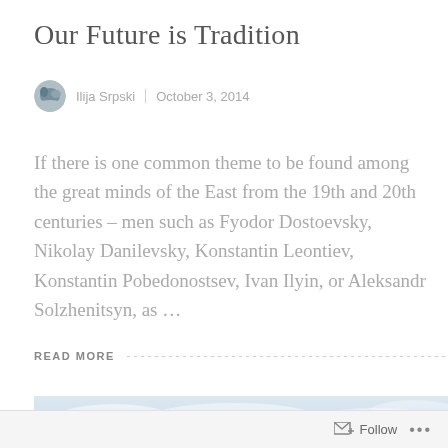Our Future is Tradition
Ilija Srpski  |  October 3, 2014
If there is one common theme to be found among the great minds of the East from the 19th and 20th centuries – men such as Fyodor Dostoevsky, Nikolay Danilevsky, Konstantin Leontiev, Konstantin Pobedonostsev, Ivan Ilyin, or Aleksandr Solzhenitsyn, as …
READ MORE
[Figure (photo): Partial view of cloudy sky landscape, cut off at bottom of page]
Follow  •••